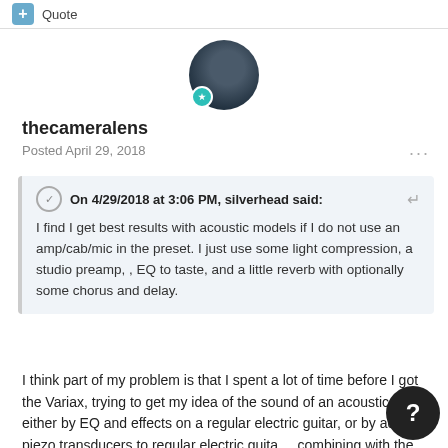+ Quote
[Figure (photo): User avatar circle photo of thecameralens with teal badge icon]
thecameralens
Posted April 29, 2018
On 4/29/2018 at 3:06 PM, silverhead said: I find I get best results with acoustic models if I do not use an amp/cab/mic in the preset. I just use some light compression, a studio preamp, , EQ to taste, and a little reverb with optionally some chorus and delay.
I think part of my problem is that I spent a lot of time before I got the Variax, trying to get my idea of the sound of an acoustic, either by EQ and effects on a regular electric guitar, or by adding piezo transducers to regular electric guitars, combining with the regular magnetic pickups in one way or another. Now I have the Variax the modeled sound is far duller than I am used to. It is probably just down to my perception, I